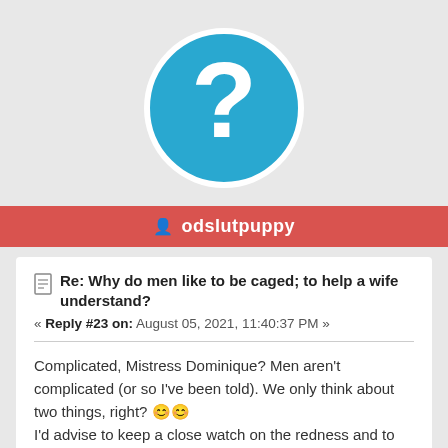[Figure (illustration): Circular blue avatar with white question mark on grey background]
odslutpuppy
Re: Why do men like to be caged; to help a wife understand?
« Reply #23 on: August 05, 2021, 11:40:37 PM »
Complicated, Mistress Dominique? Men aren't complicated (or so I've been told). We only think about two things, right? 🙂🙂
I'd advise to keep a close watch on the redness and to have him lubricate the area more frequently for a couple of days to see if that helps. Trust me that